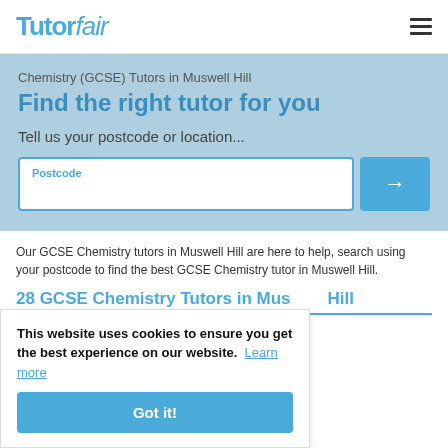Tutorfair
Chemistry (GCSE) Tutors in Muswell Hill
Find the right tutor for you
Tell us your postcode or location...
Postcode
Our GCSE Chemistry tutors in Muswell Hill are here to help, search using your postcode to find the best GCSE Chemistry tutor in Muswell Hill.
This website uses cookies to ensure you get the best experience on our website.  Learn more
Got it!
28 GCSE Chemistry Tutors in Muswell Hill
Juba A